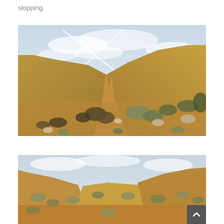stopping.
[Figure (photo): Desert hillside landscape with dry scrub brush and boulders under a partly cloudy sky with aircraft contrails forming an X pattern]
[Figure (photo): Desert ravine or wash landscape with dry scrub brush and sandy slopes under a pale blue sky, partially cropped at bottom of page]